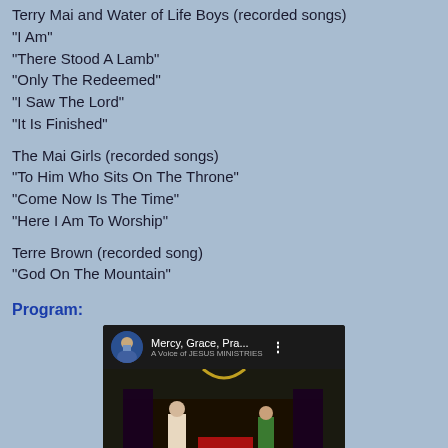Terry Mai and Water of Life Boys (recorded songs)
“I Am”
“There Stood A Lamb”
“Only The Redeemed”
“I Saw The Lord”
“It Is Finished”
The Mai Girls (recorded songs)
“To Him Who Sits On The Throne”
“Come Now Is The Time”
“Here I Am To Worship”
Terre Brown (recorded song)
“God On The Mountain”
Program:
[Figure (screenshot): Video thumbnail showing a YouTube-style video player with title 'Mercy, Grace, Pra...' and a church scene with people on stage.]